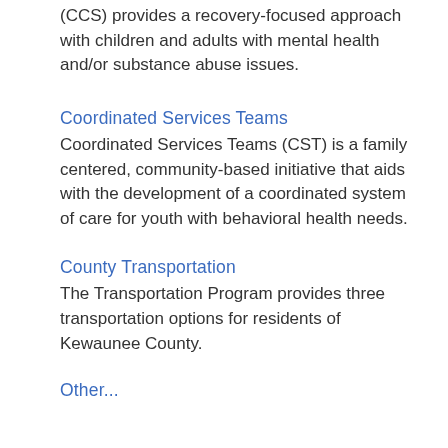(CCS) provides a recovery-focused approach with children and adults with mental health and/or substance abuse issues.
Coordinated Services Teams
Coordinated Services Teams (CST) is a family centered, community-based initiative that aids with the development of a coordinated system of care for youth with behavioral health needs.
County Transportation
The Transportation Program provides three transportation options for residents of Kewaunee County.
Other...